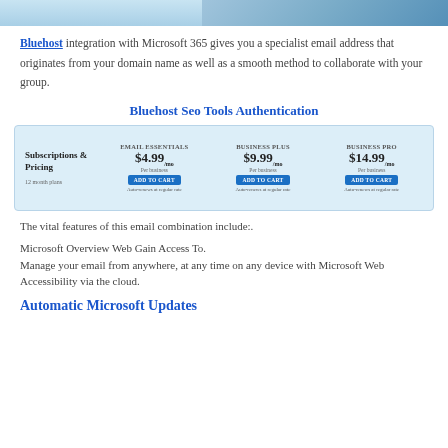[Figure (photo): Partial banner photo showing a person in blue shirt, cropped at top of page]
Bluehost integration with Microsoft 365 gives you a specialist email address that originates from your domain name as well as a smooth method to collaborate with your group.
Bluehost Seo Tools Authentication
[Figure (screenshot): Pricing table screenshot showing Subscriptions & Pricing with three plans: Email Essentials $4.99/mo, Business Plus $9.99/mo, Business Pro $14.99/mo, each with an Add to Cart button]
The vital features of this email combination include:.
Microsoft Overview Web Gain Access To.
Manage your email from anywhere, at any time on any device with Microsoft Web Accessibility via the cloud.
Automatic Microsoft Updates